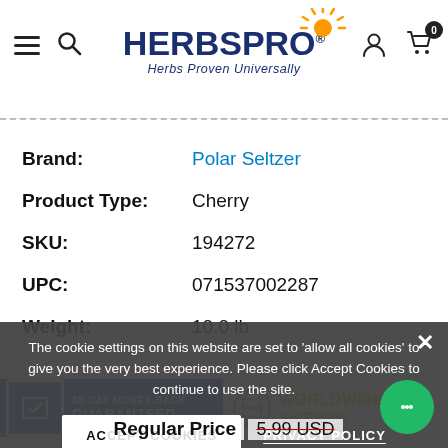HerbsPro - Herbs Proven Universally
Brand: Polar Seltzer
Product Type: Cherry
SKU: 194272
UPC: 071537002287
Weight: 10.0 lb
[Figure (infographic): 30-Day Money-Back Guaranteed badge (blue background) and Worldwide Shipping badge]
The cookie settings on this website are set to 'allow all cookies' to give you the very best experience. Please click Accept Cookies to continue to use the site.
ACCEPT COOKIES | PRIVACY POLICY
Regular Price 5.99 USD